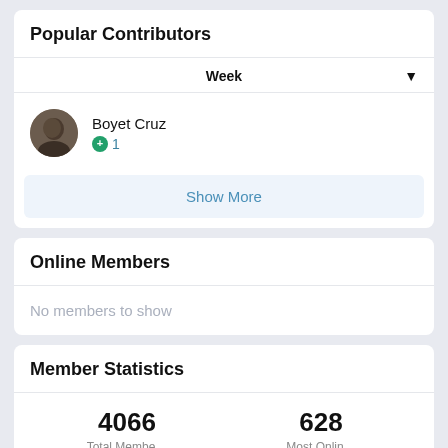Popular Contributors
Week
Boyet Cruz +1
Show More
Online Members
No members to show
Member Statistics
4066 Total Members  628 Most Online